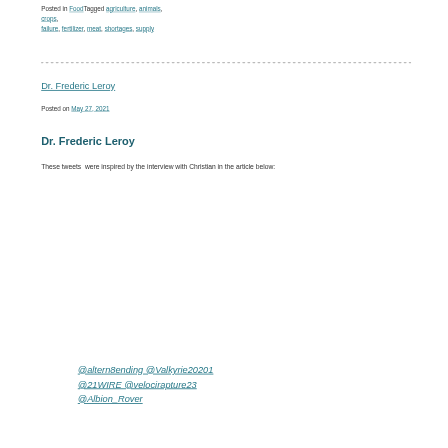Posted in FoodTagged agriculture, animals, crops, failure, fertilizer, meat, shortages, supply
Dr. Frederic Leroy
Posted on May 27, 2021
Dr. Frederic Leroy
These tweets  were inspired by the interview with Christian in the article below:
@altern8ending @Valkyrie20201 @21WIRE @velocirapture23 @Albion_Rover